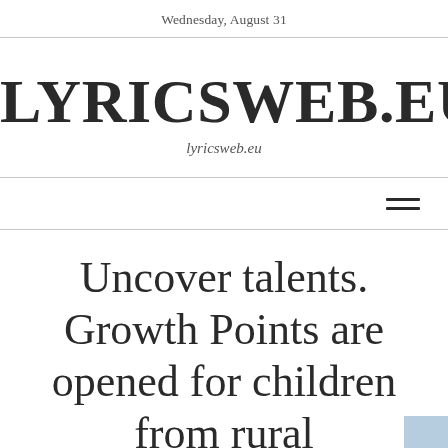Wednesday, August 31
LYRICSWEB.EU
lyricsweb.eu
[Figure (other): Hamburger menu icon with two horizontal lines]
Uncover talents. Growth Points are opened for children from rural